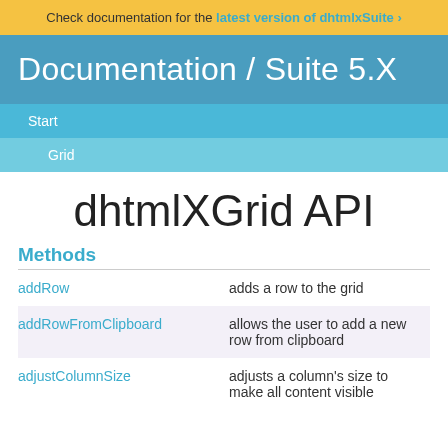Check documentation for the latest version of dhtmlxSuite ›
Documentation / Suite 5.X
Start
Grid
dhtmlXGrid API
Methods
| Method | Description |
| --- | --- |
| addRow | adds a row to the grid |
| addRowFromClipboard | allows the user to add a new row from clipboard |
| adjustColumnSize | adjusts a column's size to make all content visible |